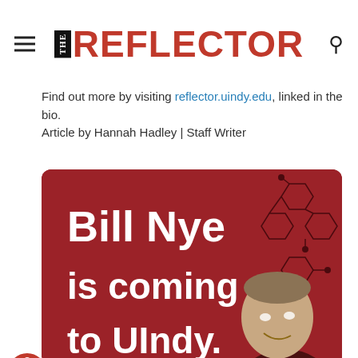THE REFLECTOR
Find out more by visiting reflector.uindy.edu, linked in the bio.
Article by Hannah Hadley | Staff Writer
[Figure (illustration): Red promotional banner reading 'Bill Nye is coming to UIndy.' with a photo of Bill Nye and molecular/hexagonal graphic elements]
The Reflector Retweeted
Special Olympics I... @SOI... · Aug 25 — "I feel like it wasn't just given to me, I felt like I worked hard for it and I trained all year long to